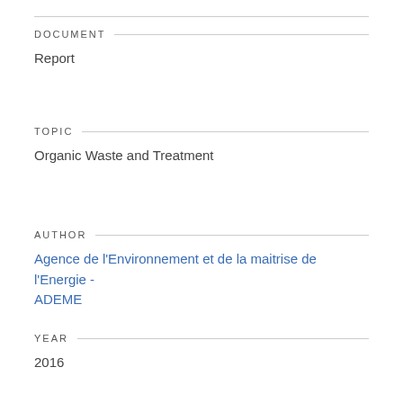DOCUMENT
Report
TOPIC
Organic Waste and Treatment
AUTHOR
Agence de l'Environnement et de la maitrise de l'Energie - ADEME
YEAR
2016